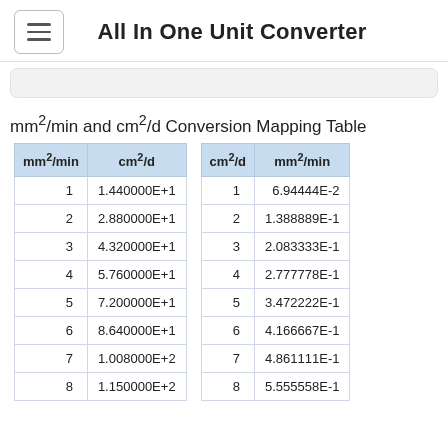All In One Unit Converter
mm²/min and cm²/d Conversion Mapping Table
| mm²/min | cm²/d |
| --- | --- |
| 1 | 1.440000E+1 |
| 2 | 2.880000E+1 |
| 3 | 4.320000E+1 |
| 4 | 5.760000E+1 |
| 5 | 7.200000E+1 |
| 6 | 8.640000E+1 |
| 7 | 1.008000E+2 |
| 8 | 1.150000E+2 |
| cm²/d | mm²/min |
| --- | --- |
| 1 | 6.94444E-2 |
| 2 | 1.388889E-1 |
| 3 | 2.083333E-1 |
| 4 | 2.777778E-1 |
| 5 | 3.472222E-1 |
| 6 | 4.166667E-1 |
| 7 | 4.861111E-1 |
| 8 | 5.555558E-1 |